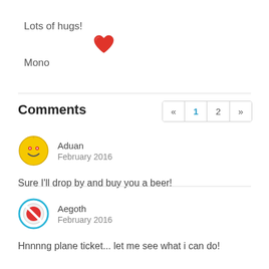Lots of hugs!
❤
Mono
Comments
Aduan
February 2016
Sure I'll drop by and buy you a beer!
Aegoth
February 2016
Hnnnng plane ticket... let me see what i can do!